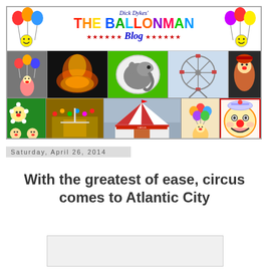[Figure (illustration): Dick Dykes' THE BALLONMAN Blog banner with circus/carnival themed collage photos including clowns, tigers, elephant, ferris wheel, big top tent, and the text CIRCUS ~~ CARNIVAL ~~ FAIRS ~~ ARENAS~~ FESTIVALS at the bottom]
Saturday, April 26, 2014
With the greatest of ease, circus comes to Atlantic City
[Figure (photo): Article image placeholder]